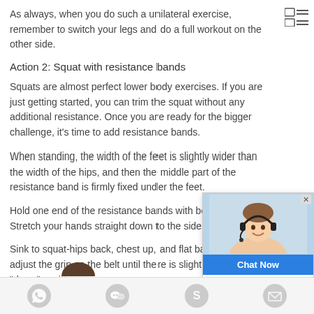As always, when you do such a unilateral exercise, remember to switch your legs and do a full workout on the other side.
Action 2: Squat with resistance bands
Squats are almost perfect lower body exercises. If you are just getting started, you can trim the squat without any additional resistance. Once you are ready for the bigger challenge, it's time to add resistance bands.
When standing, the width of the feet is slightly wider than the width of the hips, and then the middle part of the resistance band is firmly fixed under the feet.
Hold one end of the resistance bands with both hands. Stretch your hands straight down to the sides.
Sink to squat-hips back, chest up, and flat back, then adjust the grip on the belt until there is slight tension in the "down" position.
Stand up against the resistance of the band, then sink into the "down" position to complete a repetition.
[Figure (other): Chat Now widget with photo of customer service representative wearing headset]
Social media and contact icons: WhatsApp, WeChat, Skype, Email